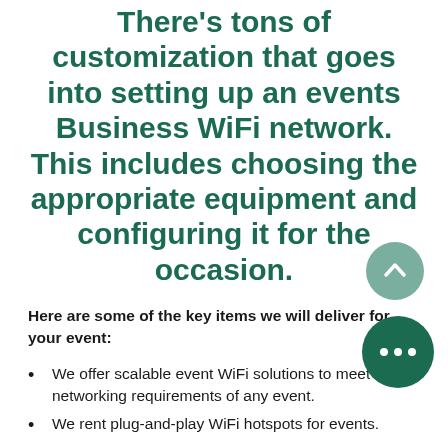There's tons of customization that goes into setting up an events Business WiFi network. This includes choosing the appropriate equipment and configuring it for the occasion.
Here are some of the key items we will deliver for your event:
We offer scalable event WiFi solutions to meet the networking requirements of any event.
We rent plug-and-play WiFi hotspots for events.
Event WiFi setups require only a reliable source of power – we'll handle everything from there.
Our custom WiFi solutions are managed and monitored on-site by our team of network engineers.